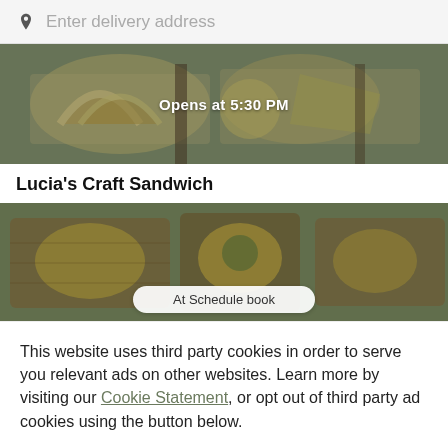Enter delivery address
[Figure (photo): Top-down photo of food (tacos/sandwiches on plates) with text overlay 'Opens at 5:30 PM']
Lucia's Craft Sandwich
[Figure (photo): Top-down photo of food items on wooden boards, with a partially visible white pill-shaped button]
This website uses third party cookies in order to serve you relevant ads on other websites. Learn more by visiting our Cookie Statement, or opt out of third party ad cookies using the button below.
OPT OUT
GOT IT